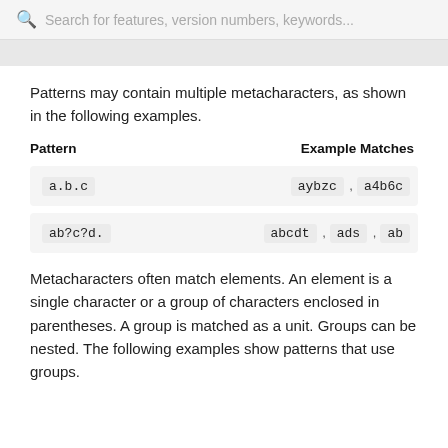Search for features, version numbers, keywords...
Patterns may contain multiple metacharacters, as shown in the following examples.
| Pattern | Example Matches |
| --- | --- |
| a.b.c | aybzc , a4b6c |
| ab?c?d. | abcdt , ads , ab |
Metacharacters often match elements. An element is a single character or a group of characters enclosed in parentheses. A group is matched as a unit. Groups can be nested. The following examples show patterns that use groups.